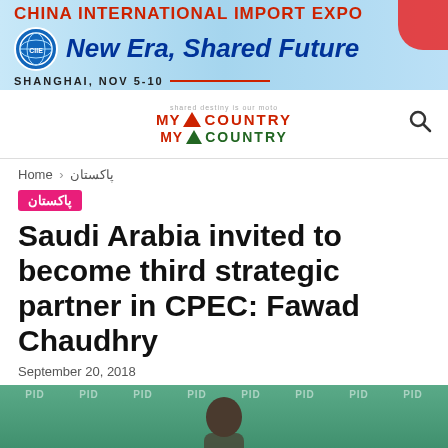[Figure (other): China International Import Expo banner — New Era, Shared Future — Shanghai, Nov 5-10]
[Figure (logo): My Country My Country website logo with search icon]
Home › پاکستان
پاکستان
Saudi Arabia invited to become third strategic partner in CPEC: Fawad Chaudhry
September 20, 2018
[Figure (photo): PID watermarked photo showing a person, green background]